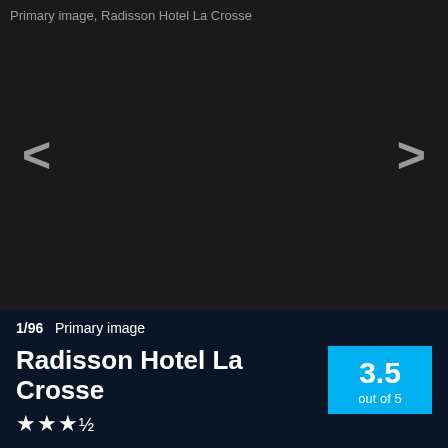[Figure (screenshot): Dark image gallery area showing primary image placeholder for Radisson Hotel La Crosse, with left and right navigation arrows]
1/96   Primary image
Radisson Hotel La Crosse
★★★½
3.5 out of 5